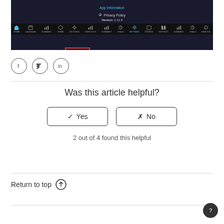[Figure (screenshot): Screenshot of a dark-themed app settings screen showing 'App Information', 'Privacy Policy', 'Version: 1.11.0', and a navigation bar with icons including Home, Calendar, Summary, Theme, Settings highlighted with a red box, Statistics, Summary, Track, Settings, Orders, Reports, Summary, Track, and Service tab.]
[Figure (other): Three circular social media icons: Facebook (f), Twitter (bird), LinkedIn (in)]
Was this article helpful?
✓ Yes
✗ No
2 out of 4 found this helpful
Return to top ↑